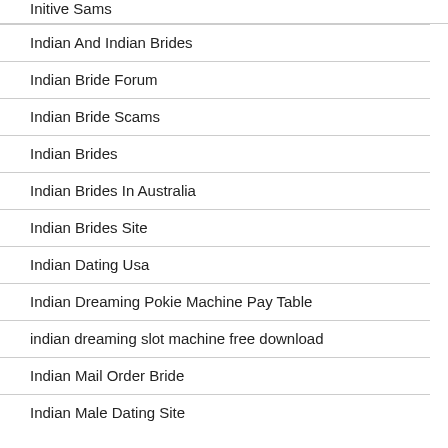Initive Sams
Indian And Indian Brides
Indian Bride Forum
Indian Bride Scams
Indian Brides
Indian Brides In Australia
Indian Brides Site
Indian Dating Usa
Indian Dreaming Pokie Machine Pay Table
indian dreaming slot machine free download
Indian Mail Order Bride
Indian Male Dating Site